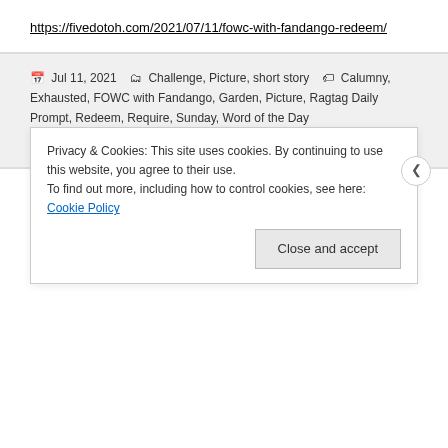https://fivedotoh.com/2021/07/11/fowc-with-fandango-redeem/
Jul 11, 2021  Challenge, Picture, short story  Calumny, Exhausted, FOWC with Fandango, Garden, Picture, Ragtag Daily Prompt, Redeem, Require, Sunday, Word of the Day  9 Comments
50 Word Thursday #109
Privacy & Cookies: This site uses cookies. By continuing to use this website, you agree to their use. To find out more, including how to control cookies, see here: Cookie Policy